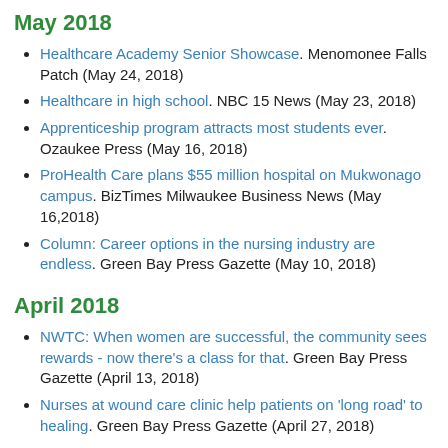May 2018
Healthcare Academy Senior Showcase. Menomonee Falls Patch (May 24, 2018)
Healthcare in high school. NBC 15 News (May 23, 2018)
Apprenticeship program attracts most students ever. Ozaukee Press (May 16, 2018)
ProHealth Care plans $55 million hospital on Mukwonago campus. BizTimes Milwaukee Business News (May 16,2018)
Column: Career options in the nursing industry are endless. Green Bay Press Gazette (May 10, 2018)
April 2018
NWTC: When women are successful, the community sees rewards - now there's a class for that. Green Bay Press Gazette (April 13, 2018)
Nurses at wound care clinic help patients on 'long road' to healing. Green Bay Press Gazette (April 27, 2018)